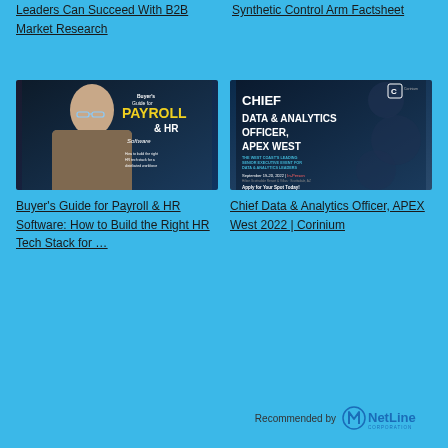Leaders Can Succeed With B2B Market Research
Synthetic Control Arm Factsheet
[Figure (photo): Buyer's Guide for Payroll & HR Software book cover showing a woman looking at her phone in dark lighting]
[Figure (photo): Chief Data & Analytics Officer, APEX West 2022 | Corinium event advertisement on dark blue background]
Buyer's Guide for Payroll & HR Software: How to Build the Right HR Tech Stack for …
Chief Data & Analytics Officer, APEX West 2022 | Corinium
Recommended by NetLine Corporation